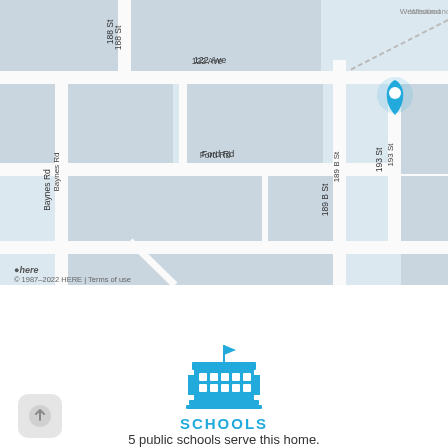[Figure (map): Street map showing area around Ford Rd and 189 B St with a blue location pin marker. Map shows streets including 188 St, 122 Ave, Ford Rd, Baynes Rd, 189 B St, Harris Rd, 193 St, 119 Ave. Parks shown: Hoffman Park (green), Eagle Park (green). Map copyright: © 1987–2022 HERE | Terms of use. Scale bar: 200 m. Zoom controls (+/-) and layer toggle visible on right side.]
View on Google Maps
[Figure (illustration): Blue school building icon with flag on top]
SCHOOLS
5 public schools serve this home.